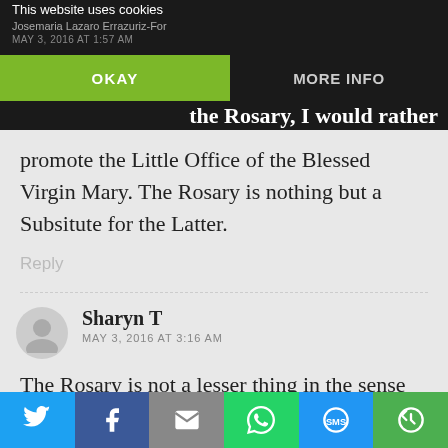This website uses cookies
Josemaria Lazaro Errazuriz-For
MAY 3, 2016 AT 1:57 AM
OKAY
MORE INFO
the Rosary, I would rather promote the Little Office of the Blessed Virgin Mary. The Rosary is nothing but a Subsitute for the Latter.
Reply
Sharyn T
MAY 3, 2016 AT 3:16 AM
The Rosary is not a lesser thing in the sense that you are describing here, but a
Share bar: Twitter, Facebook, Email, WhatsApp, SMS, More